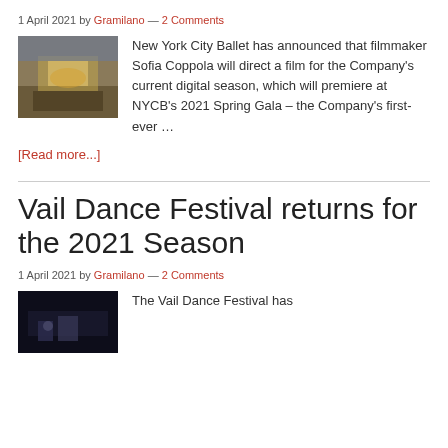1 April 2021 by Gramilano — 2 Comments
[Figure (photo): Exterior photo of Lincoln Center or similar performance venue at dusk, illuminated facade]
New York City Ballet has announced that filmmaker Sofia Coppola will direct a film for the Company's current digital season, which will premiere at NYCB's 2021 Spring Gala – the Company's first-ever … [Read more...]
Vail Dance Festival returns for the 2021 Season
1 April 2021 by Gramilano — 2 Comments
[Figure (photo): Dark photo related to Vail Dance Festival, performers on stage]
The Vail Dance Festival has